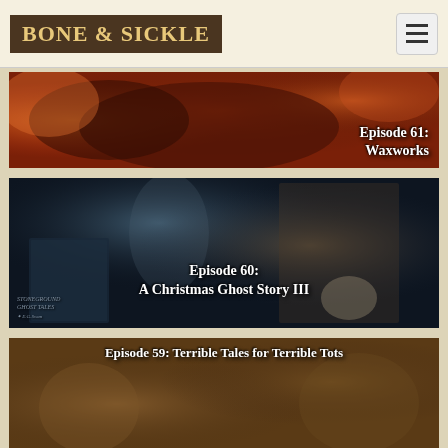BONE & SICKLE
[Figure (photo): Episode 61: Waxworks - dark fiery background with orange and red tones, wax figures]
[Figure (photo): Episode 60: A Christmas Ghost Story III - dark blue atmospheric image with ghostly figure, book, portrait, and skull]
[Figure (photo): Episode 59: Terrible Tales for Terrible Tots - warm brown tones with children]